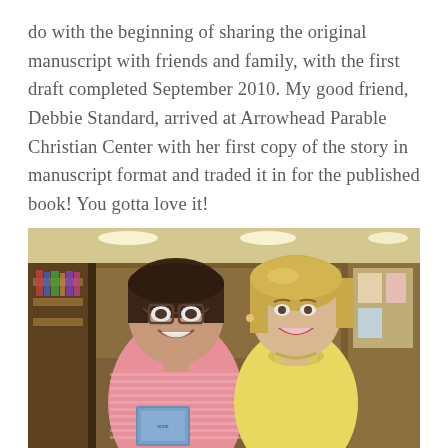do with the beginning of sharing the original manuscript with friends and family, with the first draft completed September 2010. My good friend, Debbie Standard, arrived at Arrowhead Parable Christian Center with her first copy of the story in manuscript format and traded it in for the published book! You gotta love it!
[Figure (photo): Two women posing together smiling inside what appears to be a Christian bookstore. The woman on the left has dark short hair and glasses, wearing a pink striped shirt, and is holding a book. The woman on the right has blonde hair and is wearing a yellow sleeveless top with a decorative neckline. The background shows bookstore shelves and display areas with warm lighting.]